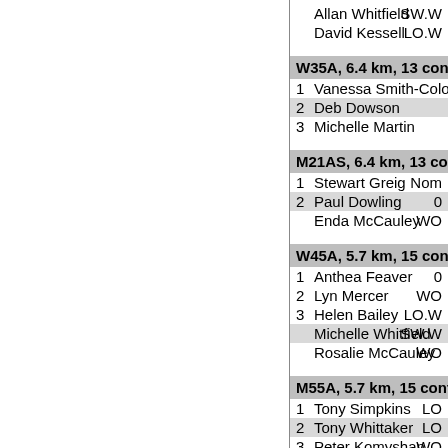Allan Whitfield  SW.W
David Kessell  LO.W
W35A, 6.4 km, 13 contro...
1 Vanessa Smith-Colombi
2 Deb Dowson
3 Michelle Martin
M21AS, 6.4 km, 13 contr...
1  Stewart Greig  Nom
2  Paul Dowling  0
Enda McCauley  WO
W45A, 5.7 km, 15 contro...
1 Anthea Feaver  0
2 Lyn Mercer  WO
3 Helen Bailey  LO.W
Michelle Whitfield  SW.W
Rosalie McCauley  WO
M55A, 5.7 km, 15 contro...
1   Tony Simpkins  LO
2   Tony Whittaker  LO
3   Peter Komyshan  WO